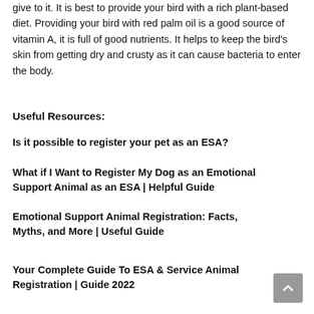give to it. It is best to provide your bird with a rich plant-based diet. Providing your bird with red palm oil is a good source of vitamin A, it is full of good nutrients. It helps to keep the bird's skin from getting dry and crusty as it can cause bacteria to enter the body.
Useful Resources:
Is it possible to register your pet as an ESA?
What if I Want to Register My Dog as an Emotional Support Animal as an ESA | Helpful Guide
Emotional Support Animal Registration: Facts, Myths, and More | Useful Guide
Your Complete Guide To ESA & Service Animal Registration | Guide 2022